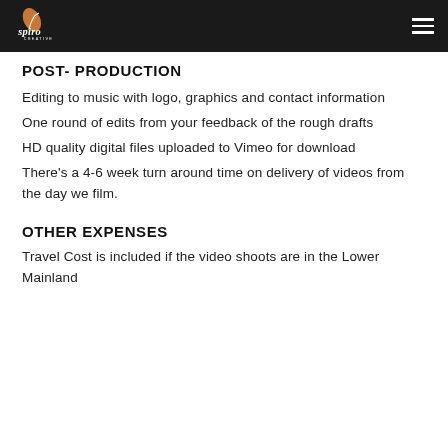Spiro Creative — navigation header
POST- PRODUCTION
Editing to music with logo, graphics and contact information
One round of edits from your feedback of the rough drafts
HD quality digital files uploaded to Vimeo for download
There's a 4-6 week turn around time on delivery of videos from the day we film.
OTHER EXPENSES
Travel Cost is included if the video shoots are in the Lower Mainland